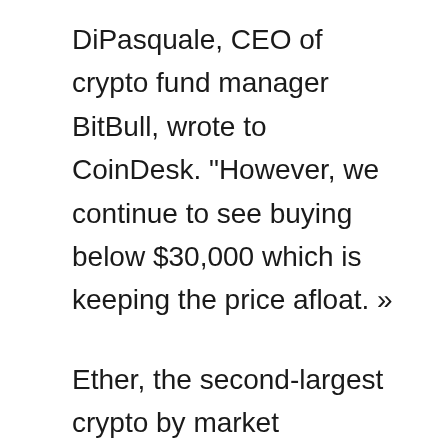DiPasquale, CEO of crypto fund manager BitBull, wrote to CoinDesk. "However, we continue to see buying below $30,000 which is keeping the price afloat. »
Ether, the second-largest crypto by market capitalization, recently changed hands just above $1,800, up slightly over the same period and well within the range it has held for the past two weeks under 2 $000. Other